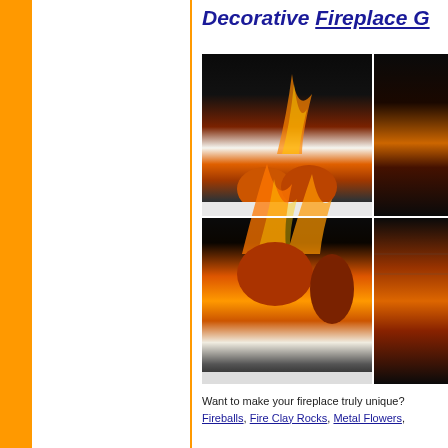Decorative Fireplace G...
[Figure (photo): Four fireplace photos arranged in a 2x2 grid. Top-left: two clay fireballs burning with blue and orange flames in a fireplace with white glass beads. Top-right: partial image of person and fireplace. Bottom-left: large clay fireballs engulfed in tall orange flames on white glass beads. Bottom-right: partial image of burning fireplace with brick background.]
Want to make your fireplace truly unique? Fireballs, Fire Clay Rocks, Metal Flowers,...